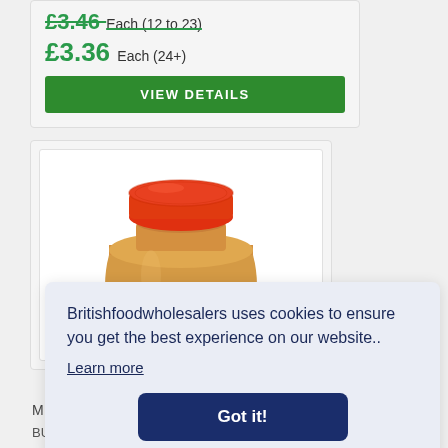£3.46 Each (12 to 23)
£3.36 Each (24+)
VIEW DETAILS
[Figure (photo): A jar of peanut butter with an orange/red lid, white background.]
Britishfoodwholesalers uses cookies to ensure you get the best experience on our website..
Learn more
Got it!
M
BUTTER 700G